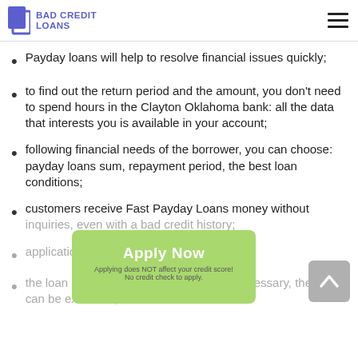BAD CREDIT LOANS
Payday loans will help to resolve financial issues quickly;
to find out the return period and the amount, you don't need to spend hours in the Clayton Oklahoma bank: all the data that interests you is available in your account;
following financial needs of the borrower, you can choose: payday loans sum, repayment period, the best loan conditions;
customers receive Fast Payday Loans money without inquiries, even with a bad credit history;
applications are accepted around the clock;
the loan can be repaid in advance or, if necessary, the return can be extended;